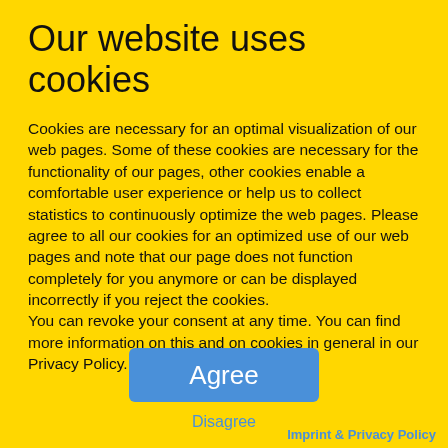Our website uses cookies
Cookies are necessary for an optimal visualization of our web pages. Some of these cookies are necessary for the functionality of our pages, other cookies enable a comfortable user experience or help us to collect statistics to continuously optimize the web pages. Please agree to all our cookies for an optimized use of our web pages and note that our page does not function completely for you anymore or can be displayed incorrectly if you reject the cookies. You can revoke your consent at any time. You can find more information on this and on cookies in general in our Privacy Policy.
Agree
Disagree
Imprint & Privacy Policy